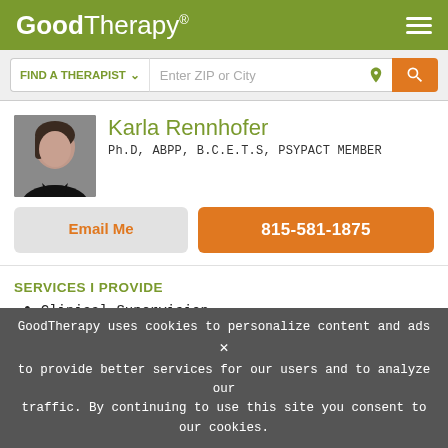GoodTherapy®
FIND A THERAPIST  Enter ZIP or City
Karla Rennhofer
Ph.D, ABPP, B.C.E.T.S, PSYPACT MEMBER
Email Me
815-581-1875
SERVICES I PROVIDE
Clinical Supervision
Consultation
Individual Therapy & Counseling
GoodTherapy uses cookies to personalize content and ads to provide better services for our users and to analyze our traffic. By continuing to use this site you consent to our cookies. ✕